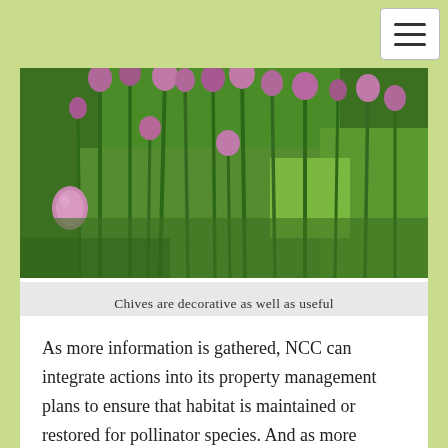[Figure (photo): Close-up photograph of chive plants with tall green stems and purple/pink round flower buds at the top, growing in a garden]
Chives are decorative as well as useful
As more information is gathered, NCC can integrate actions into its property management plans to ensure that habitat is maintained or restored for pollinator species. And as more information is available about how to identify species, citizen scientists can also